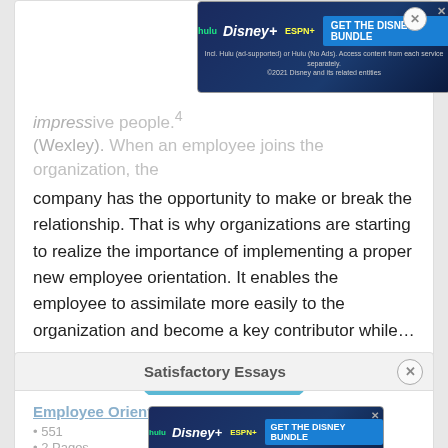impressive people (Wexley). When an employee joins the organization, the company has the opportunity to make or break the relationship. That is why organizations are starting to realize the importance of implementing a proper new employee orientation. It enables the employee to assimilate more easily to the organization and become a key contributor while…
Read More
Satisfactory Essays
Employee Orientation Programs in DNA
551
2 Pages